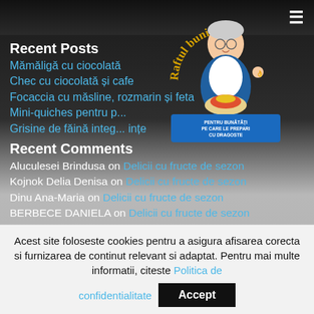[Figure (logo): Raftul bunicii brand logo with grandmother illustration and blue banner reading PENTRU BUNĂTĂȚI PE CARE LE PREPARI CU DRAGOSTE]
Recent Posts
Mămăligă cu ciocolată
Chec cu ciocolată și cafe
Focaccia cu măsline, rozmarin și feta
Mini-quiches pentru b...
Grisine de făină integ... ințe
Recent Comments
Aluculesei Brindusa on Delicii cu fructe de sezon
Kojnok Delia Denisa on Delicii cu fructe de sezon
Dinu Ana-Maria on Delicii cu fructe de sezon
BERBECE DANIELA on Delicii cu fructe de sezon
Dinu Ana-Maria on Delicii cu fructe de sezon
Archives
August 2022
July 2022
June 2022
May 2022
April 2022
March 2022
Acest site foloseste cookies pentru a asigura afisarea corecta si furnizarea de continut relevant si adaptat. Pentru mai multe informatii, citeste Politica de confidentialitate
Accept